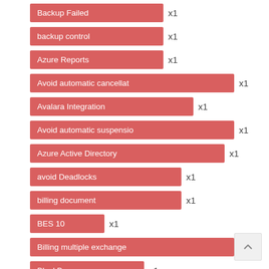Backup Failed x1
backup control x1
Azure Reports x1
Avoid automatic cancellat… x1
Avalara Integration x1
Avoid automatic suspensio… x1
Azure Active Directory x1
avoid Deadlocks x1
billing document x1
BES 10 x1
Billing multiple exchange… x1
BlackBerry x1
Billing Settings x1